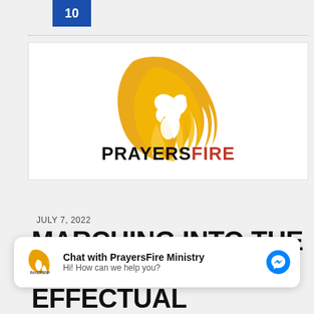10
[Figure (logo): PrayersFire logo with flame and dove, text PRAYERSFIRE in black and red]
JULY 7, 2022
MARCHING INTO THE 15TH
[Figure (infographic): Chat with PrayersFire Ministry overlay widget with messenger icon. Text: Chat with PrayersFire Ministry, Hi! How can we help you?]
MINISTRY – (15 EFFECTUAL